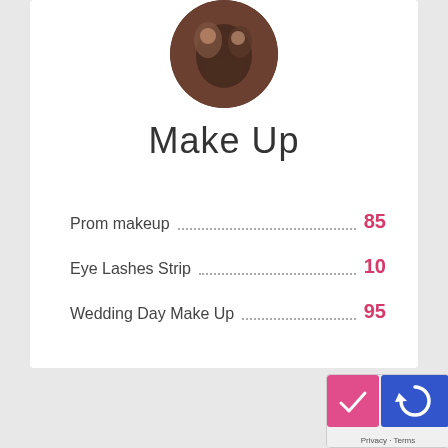[Figure (photo): Circular cropped photo of two people, appears to be a makeup/beauty session]
Make Up
Prom makeup ... 85
Eye Lashes Strip ... 10
Wedding Day Make Up ... 95
[Figure (other): reCAPTCHA badge with Privacy and Terms links]